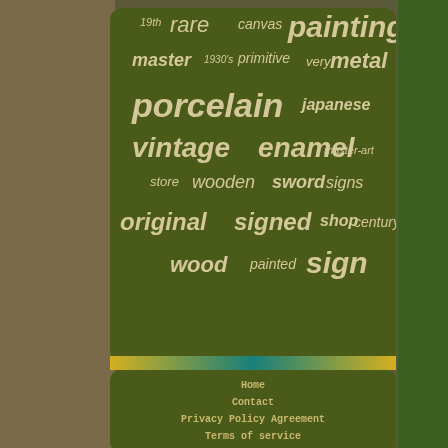[Figure (infographic): Word cloud on dark olive green rounded rectangle background, showing antique/vintage collectibles keywords in varying sizes and weights. Words include: painting (largest, bold), porcelain (large bold italic), enamel (large bold italic), vintage (large bold italic), signed (large bold italic), original (large bold italic), sign (large bold italic), metal (medium bold), master (medium bold italic), rare (medium), japanese (medium bold italic), wooden (medium italic), sword (medium bold italic), signs (medium italic), shop (medium bold italic), century (medium italic), wood (medium bold italic), painted (medium italic), canvas (small italic), primitive (small italic), very (small italic), store (small italic), master-art (small italic), 19th (small), 1930's (small)]
Home
Contact
Privacy Policy Agreement
Terms of service